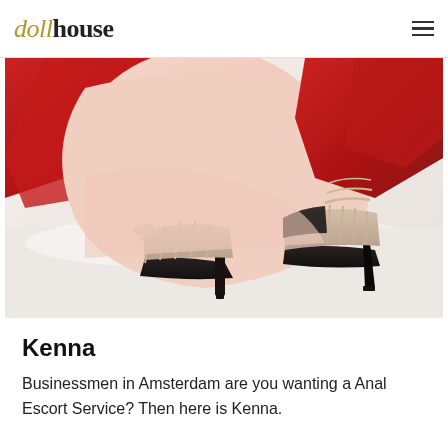dollhouse
[Figure (photo): Close-up photo of a person in red lingerie wearing beige/nude strappy high heel stilettos with black soles, posed on a white surface]
Kenna
Businessmen in Amsterdam are you wanting a Anal Escort Service? Then here is Kenna.